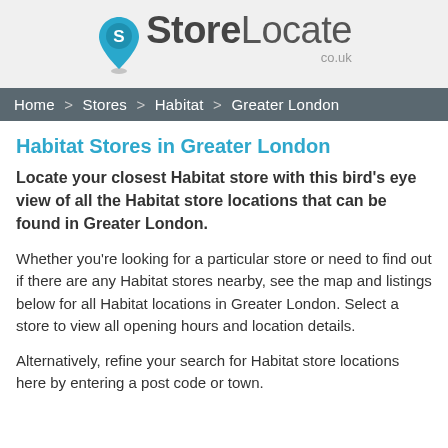[Figure (logo): StoreLocate co.uk logo with teal map pin icon containing letter S, bold 'Store' and regular 'Locate' text]
Home > Stores > Habitat > Greater London
Habitat Stores in Greater London
Locate your closest Habitat store with this bird's eye view of all the Habitat store locations that can be found in Greater London.
Whether you're looking for a particular store or need to find out if there are any Habitat stores nearby, see the map and listings below for all Habitat locations in Greater London. Select a store to view all opening hours and location details.
Alternatively, refine your search for Habitat store locations here by entering a post code or town.